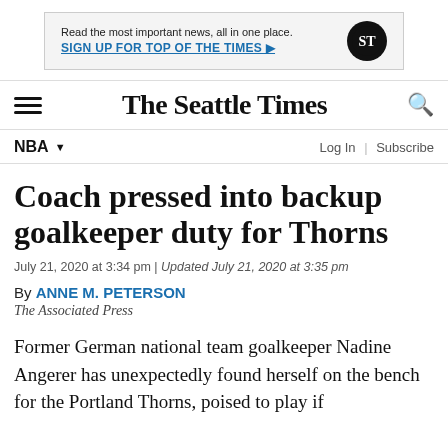[Figure (other): Advertisement banner: 'Read the most important news, all in one place. SIGN UP FOR TOP OF THE TIMES ▶' with The Seattle Times circular logo in black]
The Seattle Times
NBA ▼
Coach pressed into backup goalkeeper duty for Thorns
July 21, 2020 at 3:34 pm | Updated July 21, 2020 at 3:35 pm
By ANNE M. PETERSON
The Associated Press
Former German national team goalkeeper Nadine Angerer has unexpectedly found herself on the bench for the Portland Thorns, poised to play if